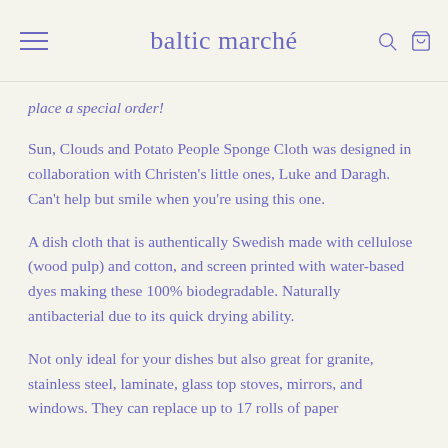baltic marché
place a special order!
Sun, Clouds and Potato People Sponge Cloth was designed in collaboration with Christen's little ones, Luke and Daragh. Can't help but smile when you're using this one.
A dish cloth that is authentically Swedish made with cellulose (wood pulp) and cotton, and screen printed with water-based dyes making these 100% biodegradable. Naturally antibacterial due to its quick drying ability.
Not only ideal for your dishes but also great for granite, stainless steel, laminate, glass top stoves, mirrors, and windows. They can replace up to 17 rolls of paper